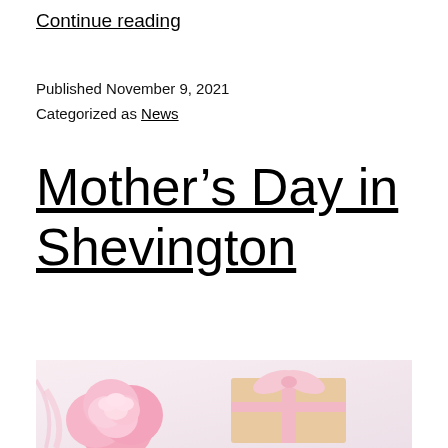Continue reading
Published November 9, 2021
Categorized as News
Mother’s Day in Shevington
[Figure (photo): Pink carnation flowers next to a kraft paper gift box with pink ribbon bow, on a light background]